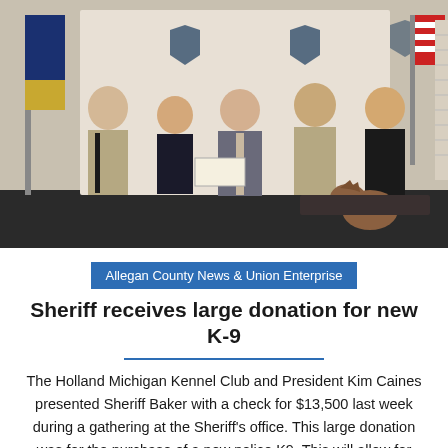[Figure (photo): Five people posing indoors in front of a law enforcement banner with shields. Two people in tan sheriff uniforms on the left, one woman in dark clothing, one man in a suit holding a check, one person in tan uniform, and one officer in black uniform with a German Shepherd police dog. American flag and state flag visible in background.]
Allegan County News & Union Enterprise
Sheriff receives large donation for new K-9
The Holland Michigan Kennel Club and President Kim Caines presented Sheriff Baker with a check for $13,500 last week during a gathering at the Sheriff's office. This large donation was for the purchase of a new police K9. This will allow for